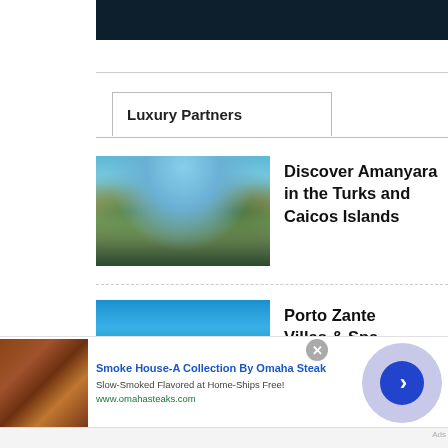[Figure (photo): Dark header bar at top of page]
Luxury Partners
[Figure (photo): Aerial/ground view of Amanyara resort with reflective water and tropical trees]
Discover Amanyara in the Turks and Caicos Islands
[Figure (photo): Porto Zante Villas & Spa resort exterior with blue sky and tropical vegetation]
Porto Zante Villas & Spa -
[Figure (photo): Advertisement: Smoke House-A Collection By Omaha Steak, showing smoked meat]
Smoke House-A Collection By Omaha Steak
Slow-Smoked Flavored at Home-Ships Free!
www.omahasteaks.com